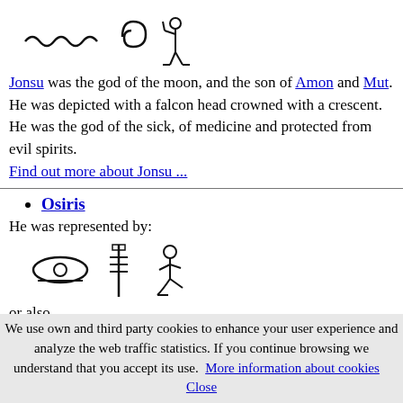[Figure (illustration): Egyptian hieroglyphs representing Jonsu: wavy water line, spiral, and seated figure with staff]
Jonsu was the god of the moon, and the son of Amon and Mut. He was depicted with a falcon head crowned with a crescent. He was the god of the sick, of medicine and protected from evil spirits. Find out more about Jonsu ...
Osiris
He was represented by:
[Figure (illustration): Egyptian hieroglyphs for Osiris: eye, vertical pillar, and kneeling figure]
or also
[Figure (illustration): Egyptian hieroglyphs: bird with spread wings, cross/ankh figure, kneeling figure, wavy water lines]
We use own and third party cookies to enhance your user experience and analyze the web traffic statistics. If you continue browsing we understand that you accept its use. More information about cookies  Close